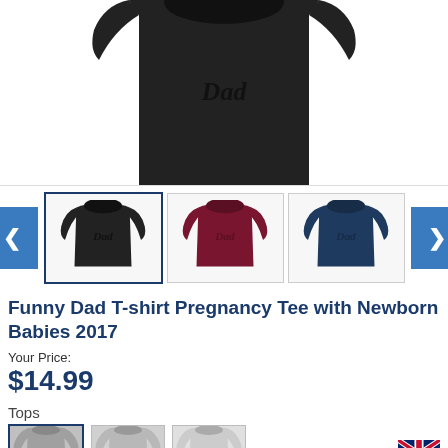[Figure (photo): Main product image showing a black t-shirt with 'Dad' written in cursive script on the front, cropped to show the shirt body and lower portion]
[Figure (photo): Thumbnail navigation row showing three t-shirts: black, maroon/burgundy, and navy blue, each with 'Dad' in cursive. Left and right navigation arrow buttons in blue.]
Funny Dad T-shirt Pregnancy Tee with Newborn Babies 2017
Your Price:
$14.99
Tops
[Figure (photo): Bottom row showing three hoodie/sweatshirt color option thumbnails in light gray shades, with a UK flag icon on the right side]